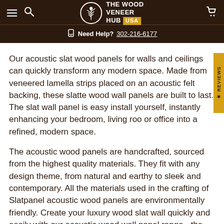[Figure (logo): The Wood Veneer Hub USA logo with tree icon on dark brown background header with hamburger menu, search icon, and cart icon]
Need Help? 302-216-6177
Our acoustic slat wood panels for walls and ceilings can quickly transform any modern space. Made from veneered lamella strips placed on an acoustic felt backing, these slatted wood wall panels are built to last. The slat wall panel is easy to install yourself, instantly enhancing your bedroom, living room or office into a refined, modern space.
The acoustic wood panels are handcrafted, sourced from the highest quality materials. They fit with any design theme, from natural and earthy to sleek and contemporary. All the materials used in the crafting of Slatpanel acoustic wood panels are environmentally friendly. Create your luxury wood slat wall quickly and easily with our acoustic wood wall panel range - the